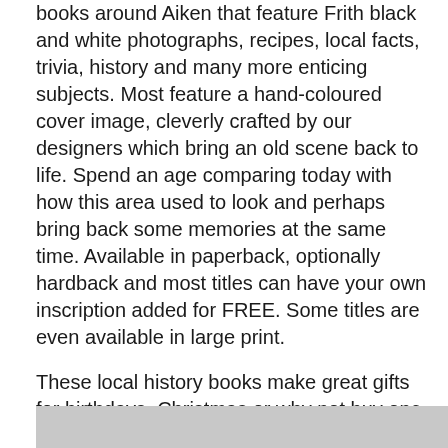books around Aiken that feature Frith black and white photographs, recipes, local facts, trivia, history and many more enticing subjects. Most feature a hand-coloured cover image, cleverly crafted by our designers which bring an old scene back to life. Spend an age comparing today with how this area used to look and perhaps bring back some memories at the same time. Available in paperback, optionally hardback and most titles can have your own inscription added for FREE. Some titles are even available in large print.
These local history books make great gifts for birthdays, Christmas or why not buy one today to start building your own collection to fill your bookshelves!
[Figure (other): Gray bar at the bottom of the page]